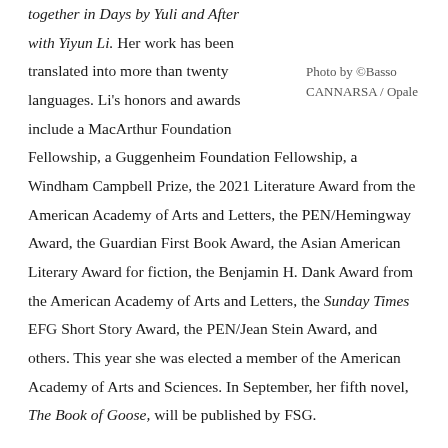together in Days by Yuli and After with Yiyun Li. Her work has been translated into more than twenty languages. Li's honors and awards include a MacArthur Foundation Fellowship, a Guggenheim Foundation Fellowship, a Windham Campbell Prize, the 2021 Literature Award from the American Academy of Arts and Letters, the PEN/Hemingway Award, the Guardian First Book Award, the Asian American Literary Award for fiction, the Benjamin H. Dank Award from the American Academy of Arts and Letters, the Sunday Times EFG Short Story Award, the PEN/Jean Stein Award, and others. This year she was elected a member of the American Academy of Arts and Sciences. In September, her fifth novel, The Book of Goose, will be published by FSG.
Photo by ©Basso CANNARSA / Opale